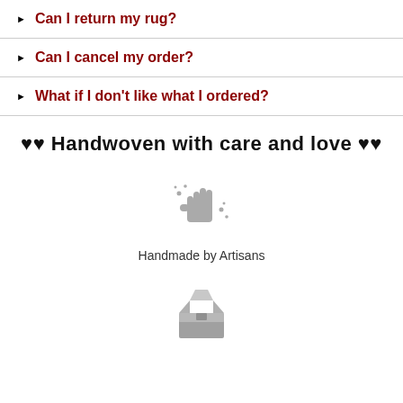Can I return my rug?
Can I cancel my order?
What if I don't like what I ordered?
♥♥ Handwoven with care and love ♥♥
[Figure (illustration): Gray sparkle/magic hand icon]
Handmade by Artisans
[Figure (illustration): Gray open box icon]